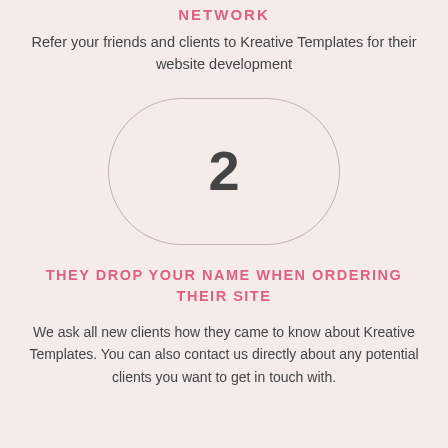NETWORK
Refer your friends and clients to Kreative Templates for their website development
[Figure (illustration): A rounded oval/pill shape outline containing the number 2 in large bold dark font, on a light pink background]
THEY DROP YOUR NAME WHEN ORDERING THEIR SITE
We ask all new clients how they came to know about Kreative Templates. You can also contact us directly about any potential clients you want to get in touch with.